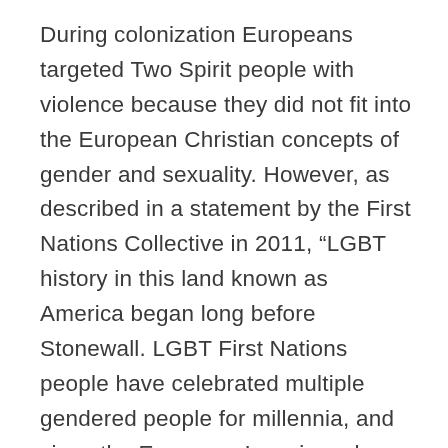During colonization Europeans targeted Two Spirit people with violence because they did not fit into the European Christian concepts of gender and sexuality. However, as described in a statement by the First Nations Collective in 2011, “LGBT history in this land known as America began long before Stonewall. LGBT First Nations people have celebrated multiple gendered people for millennia, and since the European Invasions, have struggled to keep this and other traditions alive.”
“I’ve seen too many Two-Spirit people leaving our community just so they can be who they are. Our community cannot afford to lose any more people.